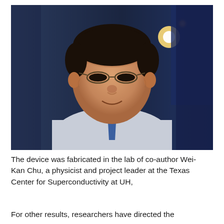[Figure (photo): Portrait photo of an elderly Asian man with glasses, wearing a light blue checkered shirt and blue tie, smiling at the camera. Background shows a dark laboratory setting with a warm orange light source visible in the upper right.]
The device was fabricated in the lab of co-author Wei-Kan Chu, a physicist and project leader at the Texas Center for Superconductivity at UH,
For other results, researchers have directed the